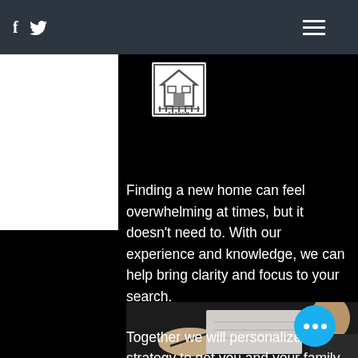f  [twitter icon]  [hamburger menu]
[Figure (logo): Fathom Realty logo: house icon with fence in a square border with text FATHOM below]
Finding a new home can feel overwhelming at times, but it doesn't need to. With our experience and knowledge, we can help bring clarity and focus to your search.
Together we will personalize a strategy to get you and your family into the right home or property with the right features at the best possible price.
[Figure (photo): Person in dark suit signing or reviewing a document, partially visible]